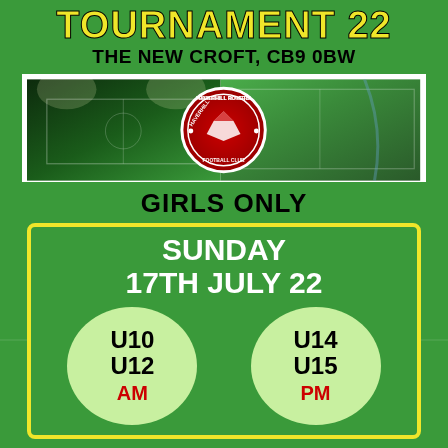TOURNAMENT 22
THE NEW CROFT, CB9 0BW
[Figure (photo): Aerial/floodlit view of The New Croft football ground with Haverhill Rovers FC badge overlay]
GIRLS ONLY
SUNDAY 17th JULY 22
U10 U12 AM
U14 U15 PM
TO ENTER A TEAM PLEASE CONTACT SHOP@THENEWCROFT.CO.UK OR CALL 01440 702137 OR 07809 207603